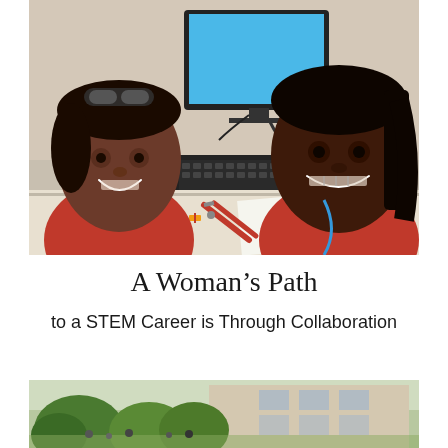[Figure (photo): Two young Black girls smiling at the camera in a classroom/lab setting. They are wearing red shirts. On the table in front of them is a green circuit board, red pliers/wire cutters, and other electronics. A black keyboard and a computer monitor with a blue screen are visible in the background.]
A Woman's Path
to a STEM Career is Through Collaboration
[Figure (photo): Partial view of a building exterior with trees and people, appearing to be a campus or institutional setting.]